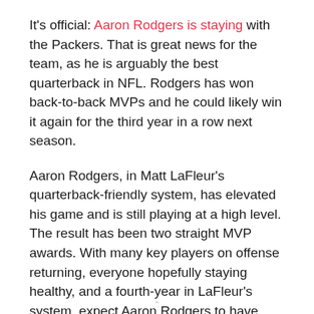It's official: Aaron Rodgers is staying with the Packers. That is great news for the team, as he is arguably the best quarterback in NFL. Rodgers has won back-to-back MVPs and he could likely win it again for the third year in a row next season.
Aaron Rodgers, in Matt LaFleur's quarterback-friendly system, has elevated his game and is still playing at a high level. The result has been two straight MVP awards. With many key players on offense returning, everyone hopefully staying healthy, and a fourth-year in LaFleur's system, expect Aaron Rodgers to have another MVP season.